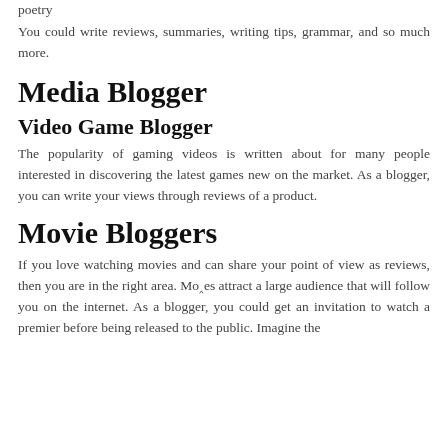poetry
You could write reviews, summaries, writing tips, grammar, and so much more.
Media Blogger
Video Game Blogger
The popularity of gaming videos is written about for many people interested in discovering the latest games new on the market. As a blogger, you can write your views through reviews of a product.
Movie Bloggers
If you love watching movies and can share your point of view as reviews, then you are in the right area. Movies attract a large audience that will follow you on the internet. As a blogger, you could get an invitation to watch a premier before being released to the public. Imagine the